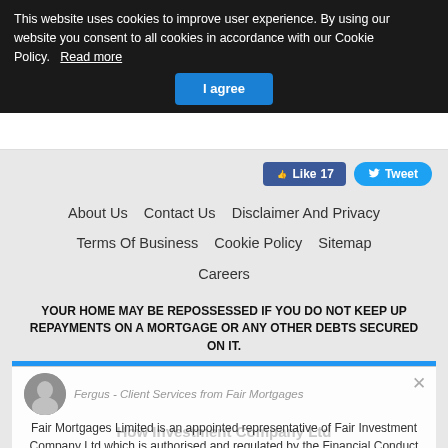This website uses cookies to improve user experience. By using our website you consent to all cookies in accordance with our Cookie Policy. Read more
I agree
[Figure (screenshot): White header bar area]
[Figure (screenshot): Like 17 and Tweet social buttons]
About Us   Contact Us   Disclaimer And Privacy   Terms Of Business   Cookie Policy   Sitemap   Careers
YOUR HOME MAY BE REPOSSESSED IF YOU DO NOT KEEP UP REPAYMENTS ON A MORTGAGE OR ANY OTHER DEBTS SECURED ON IT.
Fergus - Client Services from Fair Mortgages
Fair Mortgages Limited is an appointed representative of Fair Investment Company Ltd which is authorised and regulated by the Financial Conduct Authority.
Reply to Fergus - Client Services